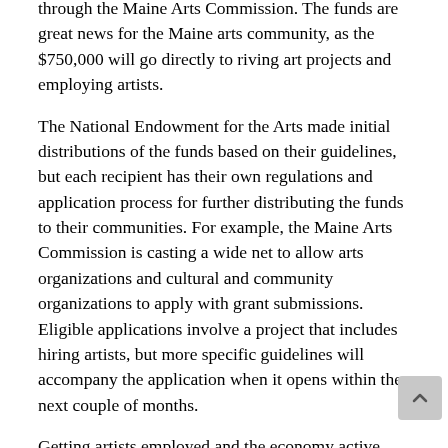through the Maine Arts Commission. The funds are great news for the Maine arts community, as the $750,000 will go directly to riving art projects and employing artists.
The National Endowment for the Arts made initial distributions of the funds based on their guidelines, but each recipient has their own regulations and application process for further distributing the funds to their communities. For example, the Maine Arts Commission is casting a wide net to allow arts organizations and cultural and community organizations to apply with grant submissions. Eligible applications involve a project that includes hiring artists, but more specific guidelines will accompany the application when it opens within the next couple of months.
Getting artists employed and the economy active again are the main goals of the government funding. Artists all across the country have not had it easy during the pandemic, so these funds will go to good use. Now that more businesses are opening and art fairs are returning to communities, Maine artists will hopefully start to see more work in the coming months.
The arts in any form will be important for bringing the